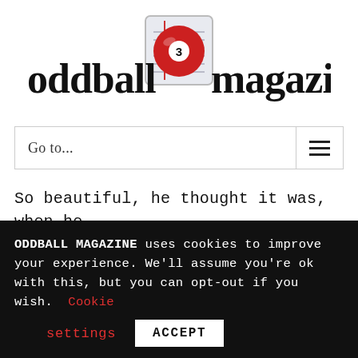[Figure (logo): Oddball Magazine logo: text 'oddball magazine' in bold black serif with a red billiard ball numbered 3 in the center, on a notebook paper background icon]
Go to...
So beautiful, he thought it was, when he was in control;
for then he felt like as a monarch, o,
completely whole.
ODDBALL MAGAZINE uses cookies to improve your experience. We'll assume you're ok with this, but you can opt-out if you wish. Cookie settings ACCEPT